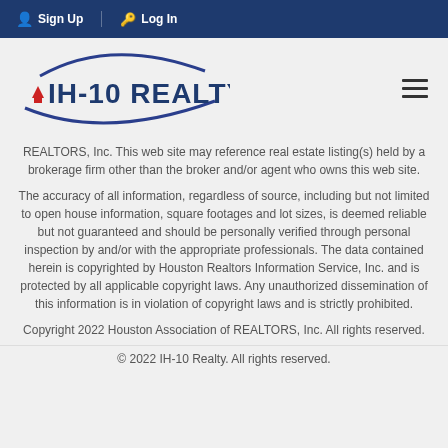Sign Up  Log In
[Figure (logo): IH-10 Realty logo with swoosh design and red house icon]
REALTORS, Inc. This web site may reference real estate listing(s) held by a brokerage firm other than the broker and/or agent who owns this web site.
The accuracy of all information, regardless of source, including but not limited to open house information, square footages and lot sizes, is deemed reliable but not guaranteed and should be personally verified through personal inspection by and/or with the appropriate professionals. The data contained herein is copyrighted by Houston Realtors Information Service, Inc. and is protected by all applicable copyright laws. Any unauthorized dissemination of this information is in violation of copyright laws and is strictly prohibited.
Copyright 2022 Houston Association of REALTORS, Inc. All rights reserved.
© 2022 IH-10 Realty. All rights reserved.